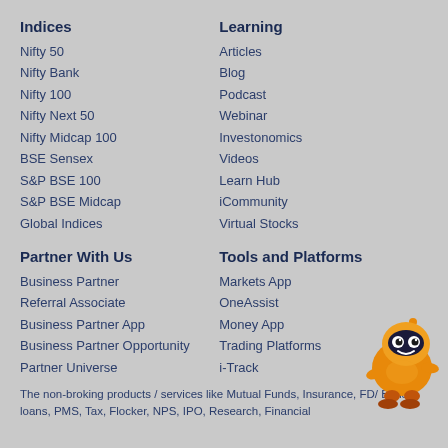Indices
Nifty 50
Nifty Bank
Nifty 100
Nifty Next 50
Nifty Midcap 100
BSE Sensex
S&P BSE 100
S&P BSE Midcap
Global Indices
Learning
Articles
Blog
Podcast
Webinar
Investonomics
Videos
Learn Hub
iCommunity
Virtual Stocks
Partner With Us
Business Partner
Referral Associate
Business Partner App
Business Partner Opportunity
Partner Universe
Tools and Platforms
Markets App
OneAssist
Money App
Trading Platforms
i-Track
[Figure (illustration): Orange cartoon robot mascot character]
The non-broking products / services like Mutual Funds, Insurance, FD/ Bonds, loans, PMS, Tax, Flocker, NPS, IPO, Research, Financial